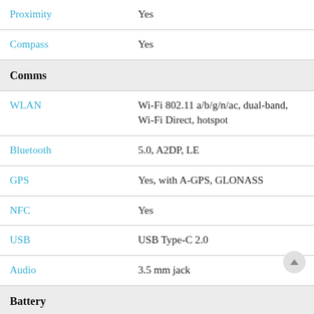| Feature | Value |
| --- | --- |
| Proximity | Yes |
| Compass | Yes |
| Comms |  |
| WLAN | Wi-Fi 802.11 a/b/g/n/ac, dual-band, Wi-Fi Direct, hotspot |
| Bluetooth | 5.0, A2DP, LE |
| GPS | Yes, with A-GPS, GLONASS |
| NFC | Yes |
| USB | USB Type-C 2.0 |
| Audio | 3.5 mm jack |
| Battery |  |
| Type | Li-Po batteryNon-Removable |
| Capacity | 5100 mAh |
| Others |  |